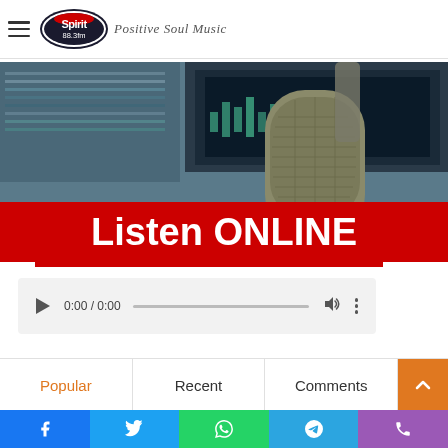[Figure (logo): Spirit 88.3fm radio station logo with oval shape and tagline Positive Soul Music]
[Figure (photo): Radio microphone in a studio with red banner saying Listen ONLINE]
[Figure (other): Audio player widget showing 0:00 / 0:00 with play button, progress bar, volume and more controls]
Popular
Recent
Comments
[Figure (infographic): Social sharing bar with Facebook, Twitter, WhatsApp, Telegram, and Phone icons]